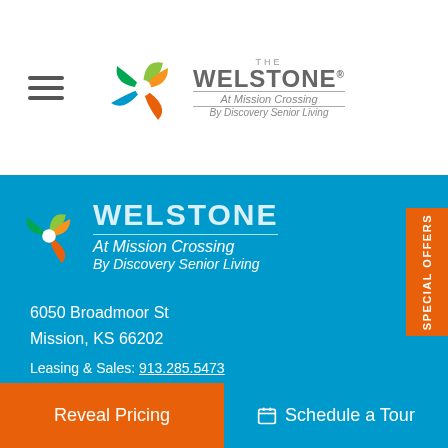[Figure (logo): The Welstone At Mission Crossing By Discovery Senior Living logo in header]
[Figure (logo): The Welstone At Mission Crossing By Discovery Senior Living logo large on blue background]
6050 Broadmoor St
Mission, KS 66202
Leasing & Sales: 913.285.5473
All Other Inquiries: 913.671.2627
Contact Us
Schedule a Tour
SPECIAL OFFERS
Reveal Pricing
Schedule a Tour